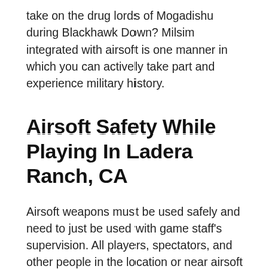take on the drug lords of Mogadishu during Blackhawk Down? Milsim integrated with airsoft is one manner in which you can actively take part and experience military history.
Airsoft Safety While Playing In Ladera Ranch, CA
Airsoft weapons must be used safely and need to just be used with game staff's supervision. All players, spectators, and other people in the location or near airsoft games in the state of Ladera Ranch, CA should use eye and face impact protection. While airsoft guns are not real firearms, they can inflict